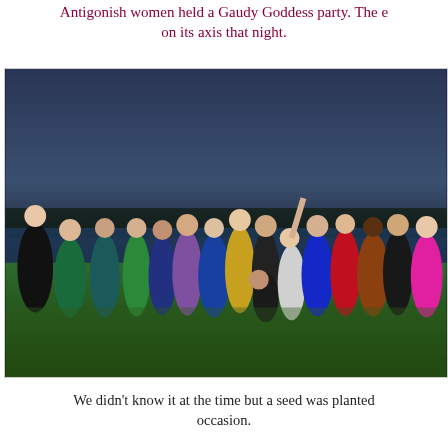Antigonish women held a Gaudy Goddess party. The e on its axis that night.
[Figure (photo): Group photo of approximately 20 women dressed in colorful costumes and gowns, posing outdoors at dusk near a lake or river, on a grassy area. The women wear a variety of outfits including green velvet, teal, blue satin, purple, gold, black, red, royal blue, brown/gold sari, pink, and others. Sky is dark blue/grey.]
We didn't know it at the time but a seed was planted occasion.